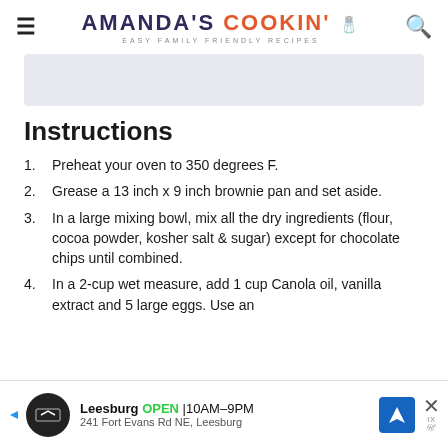AMANDA'S COOKIN' — EASY FAMILY FRIENDLY RECIPES
[Figure (photo): Partial image placeholder at top of content area]
Instructions
Preheat your oven to 350 degrees F.
Grease a 13 inch x 9 inch brownie pan and set aside.
In a large mixing bowl, mix all the dry ingredients (flour, cocoa powder, kosher salt & sugar) except for chocolate chips until combined.
In a 2-cup wet measure, add 1 cup Canola oil, vanilla extract and 5 large eggs. Use an
[Figure (other): Advertisement banner: Leesburg OPEN 10AM-9PM, 241 Fort Evans Rd NE, Leesburg]